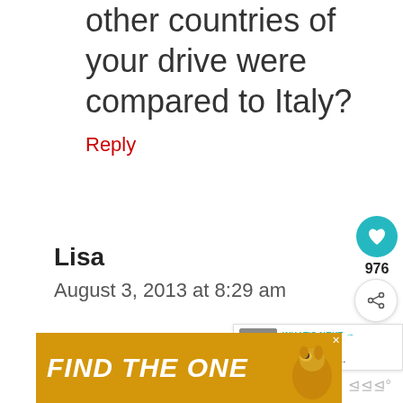other countries of your drive were compared to Italy?
Reply
Lisa
August 3, 2013 at 8:29 am
[Figure (infographic): Heart like button (teal circle with heart icon) showing 976 likes, and a share button below it]
[Figure (infographic): What's Next overlay showing thumbnail image and text '6 Tips and Traps to Avo...']
[Figure (infographic): Advertisement banner with golden/yellow background reading 'FIND THE ONE' with dog image]